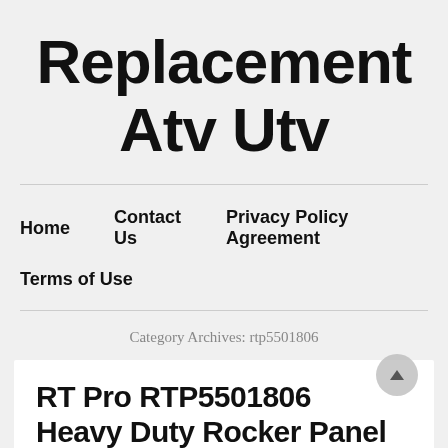Replacement Atv Utv
Home
Contact Us
Privacy Policy Agreement
Terms of Use
Category Archives: rtp5501806
RT Pro RTP5501806 Heavy Duty Rocker Panel Cover For Polaris RZR...